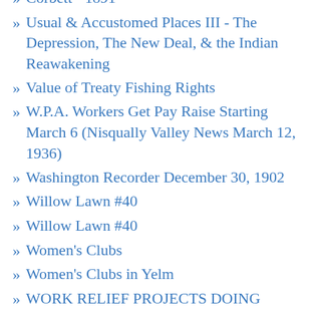Corbett - 1891
Usual & Accustomed Places III - The Depression, The New Deal, & the Indian Reawakening
Value of Treaty Fishing Rights
W.P.A. Workers Get Pay Raise Starting March 6 (Nisqually Valley News March 12, 1936)
Washington Recorder December 30, 1902
Willow Lawn #40
Willow Lawn #40
Women's Clubs
Women's Clubs in Yelm
WORK RELIEF PROJECTS DOING GOOD JOB (Nisqually Valley News December